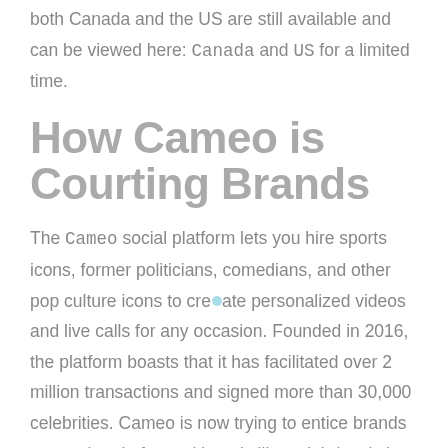both Canada and the US are still available and can be viewed here: Canada and US for a limited time.
How Cameo is Courting Brands
The Cameo social platform lets you hire sports icons, former politicians, comedians, and other pop culture icons to create personalized videos and live calls for any occasion. Founded in 2016, the platform boasts that it has facilitated over 2 million transactions and signed more than 30,000 celebrities. Cameo is now trying to entice brands to use the platform with tools like celebrity pitch videos, suggesting that marketers can look to them to find talent that best represents their brand and that matches the